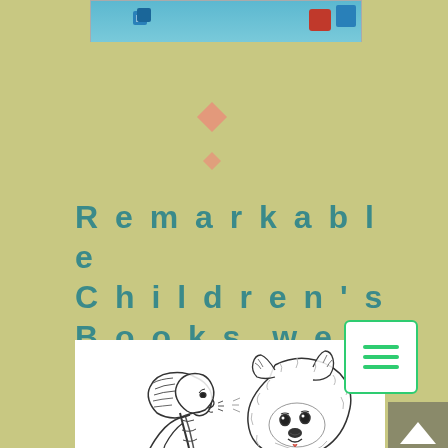[Figure (screenshot): Top portion of a website header with teal/blue background, showing navigation icons including a red rectangle and blue icon on the right side]
Remarkable Children's Books we LOVE!
[Figure (illustration): Black and white line drawing illustration of a young girl with a long braid facing nose-to-nose with a fluffy white dog (Samoyed or similar breed). The girl is leaning in affectionately toward the dog.]